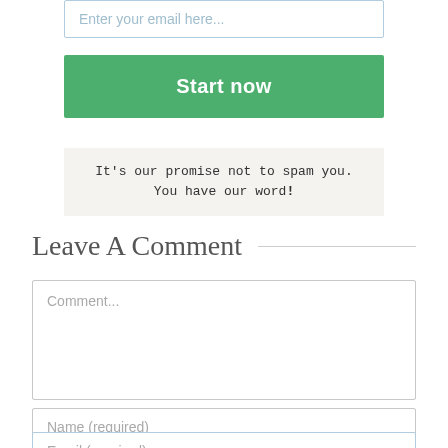[Figure (screenshot): Email input field with placeholder text 'Enter your email here...']
[Figure (screenshot): Green 'Start now' button]
It's our promise not to spam you. You have our word!
Leave A Comment
[Figure (screenshot): Comment textarea with placeholder text 'Comment...']
[Figure (screenshot): Name input field with placeholder text 'Name (required)']
[Figure (screenshot): Email input field with placeholder text 'Email (required)']